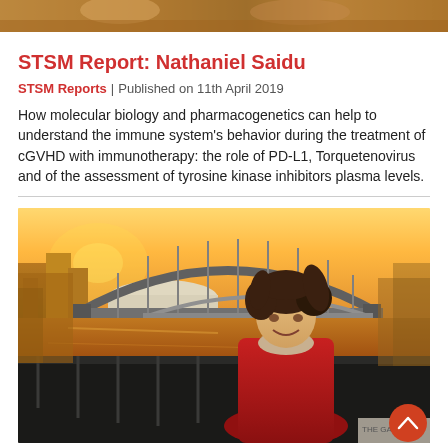[Figure (photo): Strip photo at top of page showing a partial image (cropped faces/scene)]
STSM Report: Nathaniel Saidu
STSM Reports | Published on 11th April 2019
How molecular biology and pharmacogenetics can help to understand the immune system's behavior during the treatment of cGVHD with immunotherapy: the role of PD-L1, Torquetenovirus and of the assessment of tyrosine kinase inhibitors plasma levels.
[Figure (photo): Photograph of a young woman in a red coat standing in front of the Tyne Bridge in Newcastle at sunset/golden hour, smiling at the camera. She has curly hair and a beige scarf. City buildings visible in the background.]